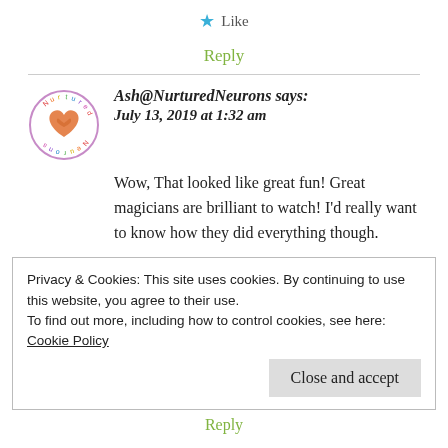★ Like
Reply
Ash@NurturedNeurons says: July 13, 2019 at 1:32 am
[Figure (logo): Nurtured Neurons circular logo with heart design]
Wow, That looked like great fun! Great magicians are brilliant to watch! I'd really want to know how they did everything though.
Privacy & Cookies: This site uses cookies. By continuing to use this website, you agree to their use.
To find out more, including how to control cookies, see here: Cookie Policy
Close and accept
Reply